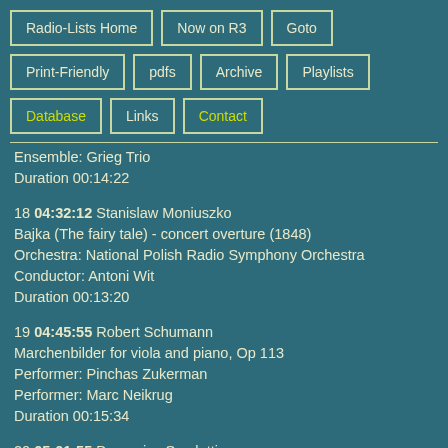Radio-Lists Home
Now on R3
Goto
Print-Friendly
pdfs
Archive
Playlists
Database
Links
Contact
Ensemble: Grieg Trio
Duration 00:14:22
18 04:32:12 Stanislaw Moniuszko
Bajka (The fairy tale) - concert overture (1848)
Orchestra: National Polish Radio Symphony Orchestra
Conductor: Antoni Wit
Duration 00:13:20
19 04:45:55 Robert Schumann
Marchenbilder for viola and piano, Op 113
Performer: Pinchas Zukerman
Performer: Marc Neikrug
Duration 00:15:34
20 05:01:55 Domenico Scarlatti